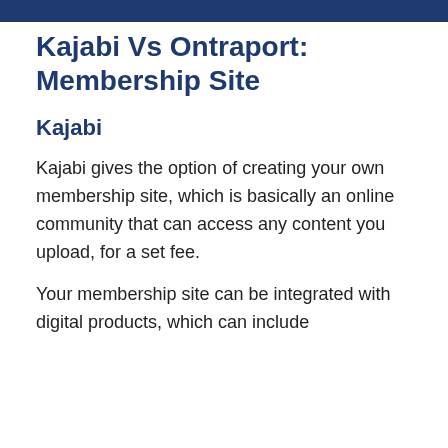Kajabi Vs Ontraport: Membership Site
Kajabi
Kajabi gives the option of creating your own membership site, which is basically an online community that can access any content you upload, for a set fee.
Your membership site can be integrated with digital products, which can include